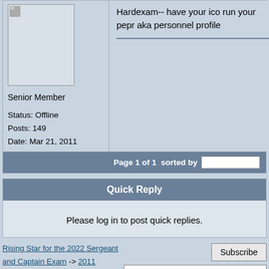[Figure (photo): Avatar placeholder image box]
Senior Member
Status: Offline
Posts: 149
Date: Mar 21, 2011
Hardexam-- have your ico run your pepr aka personnel profile
Page 1 of 1  sorted by  Oldest First
Quick Reply
Please log in to post quick replies.
Rising Star for the 2022 Sergeant and Captain Exam -> 2011
Lieutenant Exam -> Years in rank
Subscribe
Jump To: